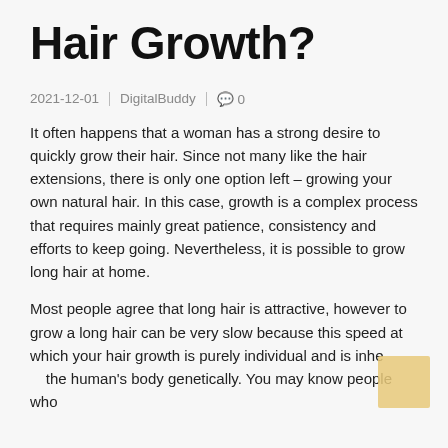Hair Growth?
2021-12-01 | DigitalBuddy | 0
It often happens that a woman has a strong desire to quickly grow their hair. Since not many like the hair extensions, there is only one option left – growing your own natural hair. In this case, growth is a complex process that requires mainly great patience, consistency and efforts to keep going. Nevertheless, it is possible to grow long hair at home.
Most people agree that long hair is attractive, however to grow a long hair can be very slow because this speed at which your hair growth is purely individual and is inherited in the human's body genetically. You may know people who